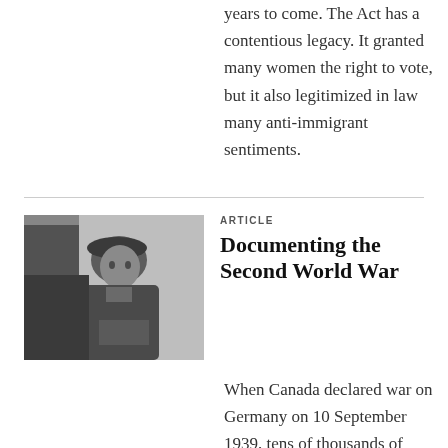years to come. The Act has a contentious legacy. It granted many women the right to vote, but it also legitimized in law many anti-immigrant sentiments.
[Figure (photo): Black and white photograph of a young male soldier wearing a beret, looking to the side, holding something in his hands, set against a light stone or concrete wall background.]
ARTICLE
Documenting the Second World War
When Canada declared war on Germany on 10 September 1939, tens of thousands of Canadians enlisted to serve in